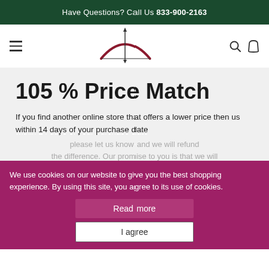Have Questions? Call Us 833-900-2163
[Figure (logo): HuntingGiant logo with bow and arrow graphic above the text HUNTINGGIANT]
105 % Price Match
If you find another online store that offers a lower price then us within 14 days of your purchase date please let us know and we will refund the difference. Our promise to you is that we will beat it by 5% on the top of that.
We use cookies on our website to give you the best shopping experience. By using this site, you agree to its use of cookies.
Read more
I agree